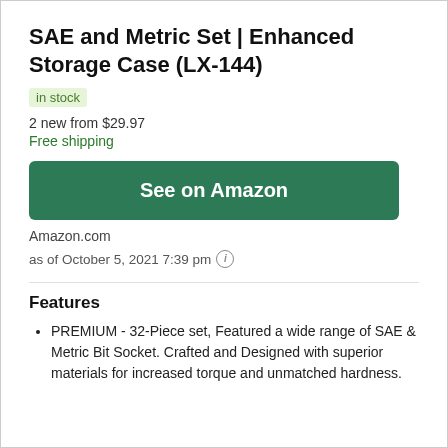SAE and Metric Set | Enhanced Storage Case (LX-144)
in stock
2 new from $29.97
Free shipping
See on Amazon
Amazon.com
as of October 5, 2021 7:39 pm
Features
PREMIUM - 32-Piece set, Featured a wide range of SAE & Metric Bit Socket. Crafted and Designed with superior materials for increased torque and unmatched hardness.